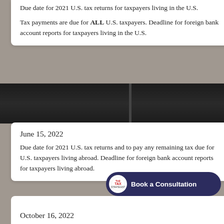Due date for 2021 U.S. tax returns for taxpayers living in the U.S. Tax payments are due for ALL U.S. taxpayers. Deadline for foreign bank account reports for taxpayers living in the U.S.
June 15, 2022
Due date for 2021 U.S. tax returns and to pay any remaining tax due for U.S. taxpayers living abroad. Deadline for foreign bank account reports for taxpayers living abroad.
October 15, 2022
Final deadline to file individual tax returns for taxpayers living in the U.S. and FBAR’s for 2021.
October 16, 2022